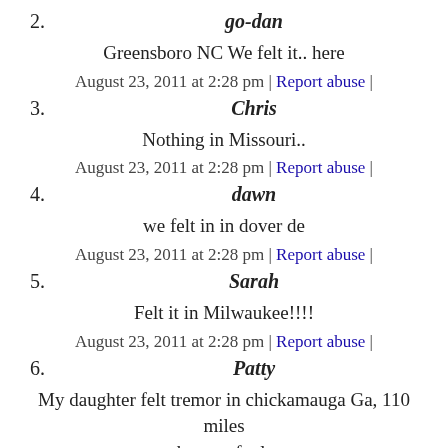2. go-dan
Greensboro NC We felt it.. here
August 23, 2011 at 2:28 pm | Report abuse |
3. Chris
Nothing in Missouri..
August 23, 2011 at 2:28 pm | Report abuse |
4. dawn
we felt in in dover de
August 23, 2011 at 2:28 pm | Report abuse |
5. Sarah
Felt it in Milwaukee!!!!
August 23, 2011 at 2:28 pm | Report abuse |
6. Patty
My daughter felt tremor in chickamauga Ga, 110 miles northwest of atlanta.
August 23, 2011 at 2:28 pm | Report abuse |